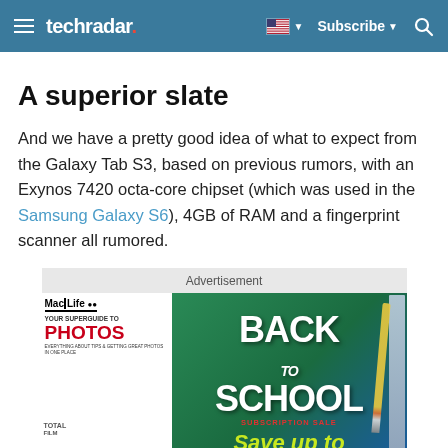techradar — Subscribe
A superior slate
And we have a pretty good idea of what to expect from the Galaxy Tab S3, based on previous rumors, with an Exynos 7420 octa-core chipset (which was used in the Samsung Galaxy S6), 4GB of RAM and a fingerprint scanner all rumored.
Advertisement
[Figure (photo): Mac Life magazine advertisement for Back to School Subscription Sale featuring Mac Life magazine covers and text 'Save up to']